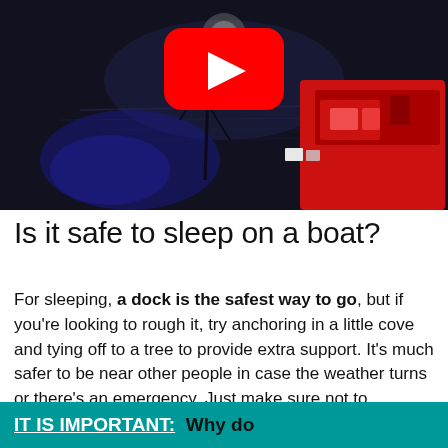[Figure (screenshot): YouTube video thumbnail showing a nighttime scene of boats on water, with blue and red lighting. A large red YouTube play button overlay is visible in the center-top area.]
Is it safe to sleep on a boat?
For sleeping, a dock is the safest way to go, but if you're looking to rough it, try anchoring in a little cove and tying off to a tree to provide extra support. It's much safer to be near other people in case the weather turns or there's an emergency. Just make sure not to trespass on anyone's property.
IT IS IMPORTANT:  Why do